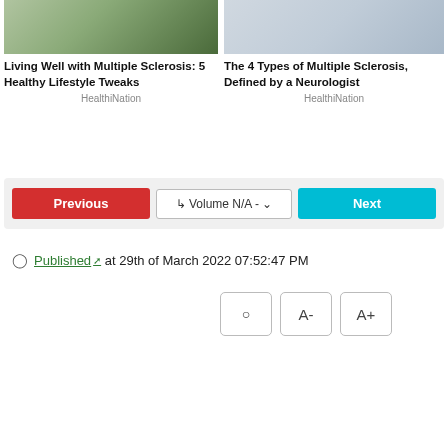[Figure (photo): Partial photo of a person in a black tank top outdoors, cropped at the top]
Living Well with Multiple Sclerosis: 5 Healthy Lifestyle Tweaks
HealthiNation
[Figure (photo): Partial photo of a doctor in a white coat with stethoscope and another person, cropped at the top]
The 4 Types of Multiple Sclerosis, Defined by a Neurologist
HealthiNation
Previous  ↳ Volume N/A -  Next
Published at 29th of March 2022 07:52:47 PM